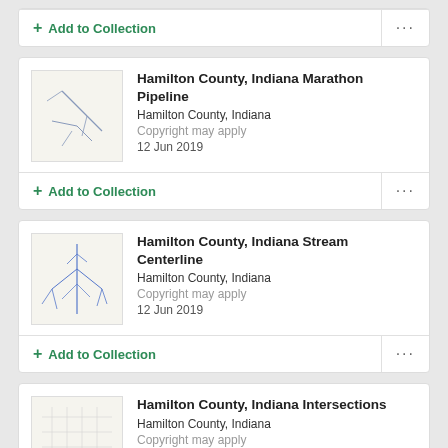+ Add to Collection ...
[Figure (map): Thumbnail map showing Hamilton County Indiana Marathon Pipeline – sparse blue lines on cream background]
Hamilton County, Indiana Marathon Pipeline
Hamilton County, Indiana
Copyright may apply
12 Jun 2019
+ Add to Collection ...
[Figure (map): Thumbnail map showing Hamilton County Indiana Stream Centerline – branching blue stream lines on cream background]
Hamilton County, Indiana Stream Centerline
Hamilton County, Indiana
Copyright may apply
12 Jun 2019
+ Add to Collection ...
[Figure (map): Thumbnail map showing Hamilton County Indiana Intersections – grid with blue dots clustered in lower left]
Hamilton County, Indiana Intersections
Hamilton County, Indiana
Copyright may apply